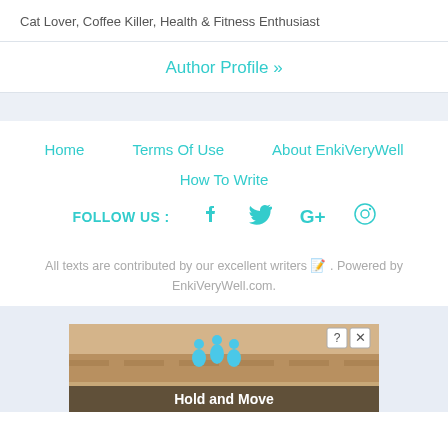Cat Lover, Coffee Killer, Health & Fitness Enthusiast
Author Profile »
Home
Terms Of Use
About EnkiVeryWell
How To Write
FOLLOW US :
All texts are contributed by our excellent writers 📝. Powered by EnkiVeryWell.com.
[Figure (screenshot): Advertisement banner showing 'Hold and Move' game with cartoon characters on a road/sand background]